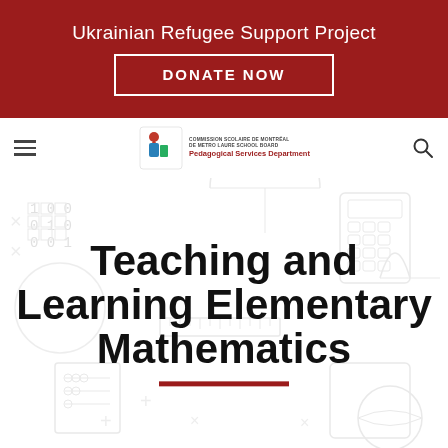Ukrainian Refugee Support Project
DONATE NOW
[Figure (logo): Commission Scolaire de Montréal / Pedagogical Services Department logo with colored figure icon]
Teaching and Learning Elementary Mathematics